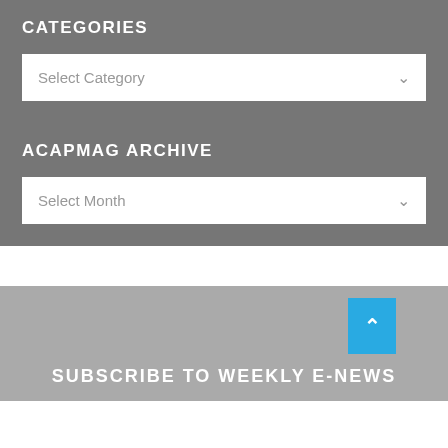CATEGORIES
Select Category
ACAPMAg ARCHIVE
Select Month
SUBSCRIBE TO WEEKLY E-NEWS